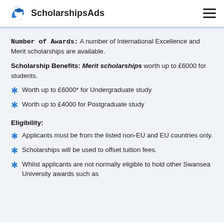ScholarshipsAds
Number of Awards: A number of International Excellence and Merit scholarships are available.
Scholarship Benefits: Merit scholarships worth up to £6000 for students.
Worth up to £6000* for Undergraduate study
Worth up to £4000 for Postgraduate study
Eligibility:
Applicants must be from the listed non-EU and EU countries only.
Scholarships will be used to offset tuition fees.
Whilst applicants are not normally eligible to hold other Swansea University awards such as